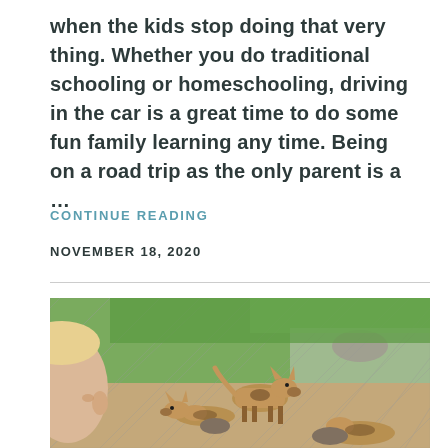when the kids stop doing that very thing. Whether you do traditional schooling or homeschooling, driving in the car is a great time to do some fun family learning any time. Being on a road trip as the only parent is a …
CONTINUE READING
NOVEMBER 18, 2020
[Figure (photo): A child looking through a chain-link fence at African wild dogs in an outdoor zoo enclosure with green grass, rocks, and sandy ground.]